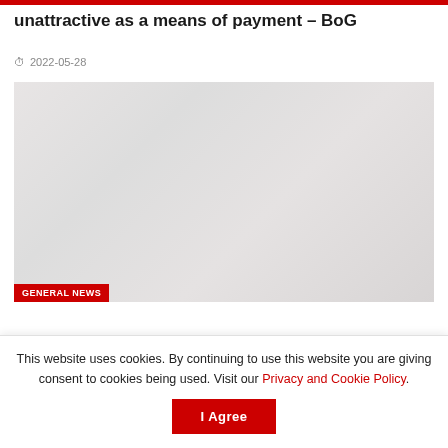unattractive as a means of payment – BoG
2022-05-28
[Figure (photo): A mostly blank/faded image placeholder with a GENERAL NEWS red badge in the bottom left corner]
This website uses cookies. By continuing to use this website you are giving consent to cookies being used. Visit our Privacy and Cookie Policy.
I Agree